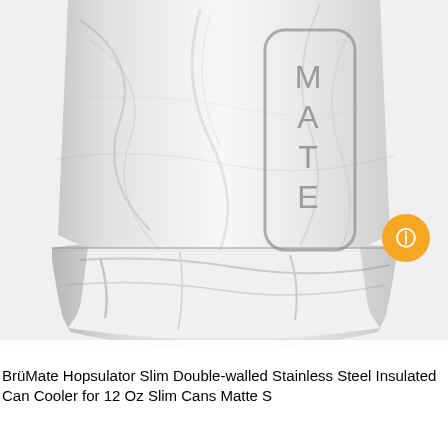[Figure (photo): Close-up product photo of a BrüMate Hopsulator Slim can cooler in a white marble pattern finish, showing the lower body and base of the insulated stainless steel can cooler. The brand name 'MATE' is visible in a rounded rectangle logo on the side. The cooler has a distinctive white marble texture with grey veining. A small orange circular button/badge is visible in the lower-right area of the image.]
BrüMate Hopsulator Slim Double-walled Stainless Steel Insulated Can Cooler for 12 Oz Slim Cans Matte S...